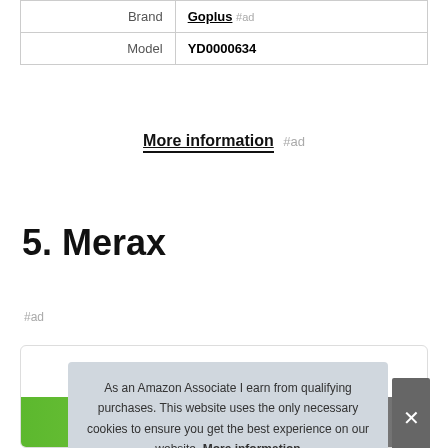|  |  |
| --- | --- |
| Brand | Goplus #ad |
| Model | YD0000634 |
More information #ad
5. Merax
#ad
As an Amazon Associate I earn from qualifying purchases. This website uses the only necessary cookies to ensure you get the best experience on our website. More information
[Figure (photo): Green product image visible at bottom of page]